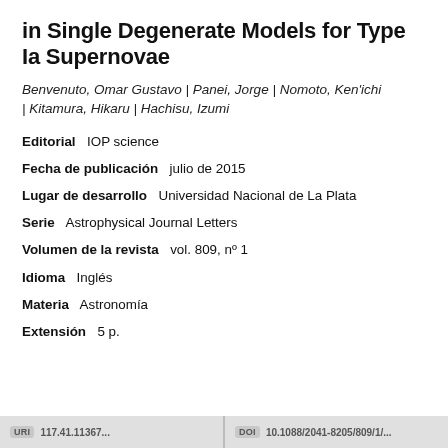in Single Degenerate Models for Type Ia Supernovae
Benvenuto, Omar Gustavo | Panei, Jorge | Nomoto, Ken'ichi | Kitamura, Hikaru | Hachisu, Izumi
Editorial   IOP science
Fecha de publicación   julio de 2015
Lugar de desarrollo   Universidad Nacional de La Plata
Serie   Astrophysical Journal Letters
Volumen de la revista   vol. 809, nº 1
Idioma   Inglés
Materia   Astronomía
Extensión   5 p.
URL  [url]   DOI  10.1088/2041-8205/809/1/[...]